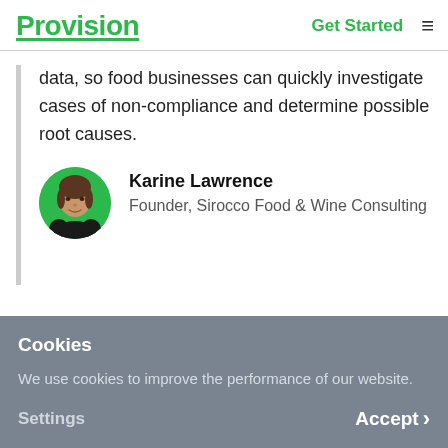Provision | Get Started
data, so food businesses can quickly investigate cases of non-compliance and determine possible root causes.
[Figure (photo): Circular portrait photo of Karine Lawrence with green circle border]
Karine Lawrence
Founder, Sirocco Food & Wine Consulting
Cookies
We use cookies to improve the performance of our website.
Settings | Accept >